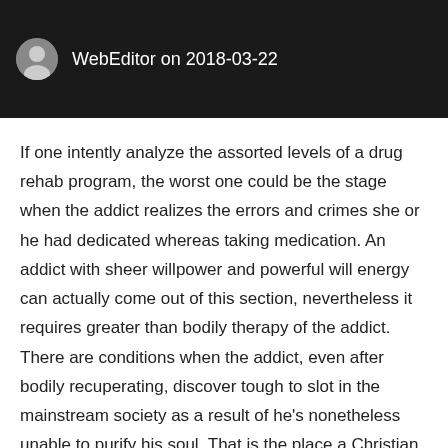WebEditor on 2018-03-22
If one intently analyze the assorted levels of a drug rehab program, the worst one could be the stage when the addict realizes the errors and crimes she or he had dedicated whereas taking medication. An addict with sheer willpower and powerful will energy can actually come out of this section, nevertheless it requires greater than bodily therapy of the addict. There are conditions when the addict, even after bodily recuperating, discover tough to slot in the mainstream society as a result of he's nonetheless unable to purify his soul. That is the place a Christian Drug Rehab helps the person immensely. A Christian Drug Rehab Middle mainly offers implements the instructing of The Christ to help the drug addicts in overcoming the psychological trauma they go through the rehab course of. the ...